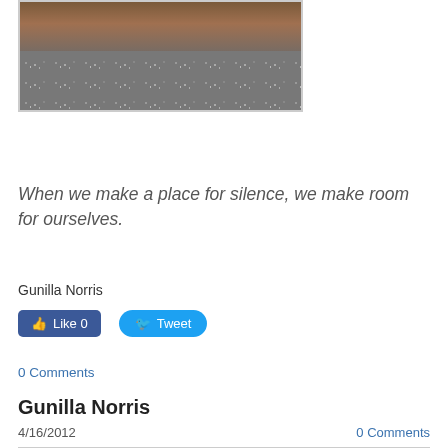[Figure (photo): Partial photo of what appears to be gravel ground with some wooden or metal structure above, shown inside a bordered frame]
When we make a place for silence, we make room for ourselves.
Gunilla Norris
Like 0   Tweet
0 Comments
Gunilla Norris
4/16/2012
0 Comments